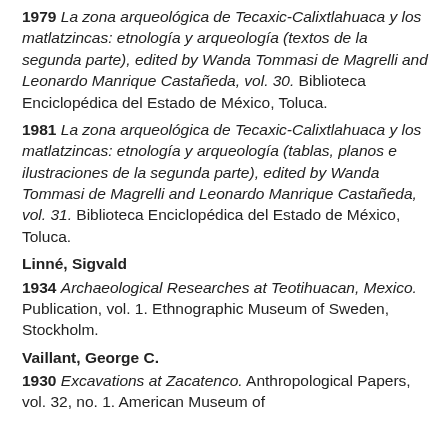1979 La zona arqueológica de Tecaxic-Calixtlahuaca y los matlatzincas: etnología y arqueología (textos de la segunda parte), edited by Wanda Tommasi de Magrelli and Leonardo Manrique Castañeda, vol. 30. Biblioteca Enciclopédica del Estado de México, Toluca.
1981 La zona arqueológica de Tecaxic-Calixtlahuaca y los matlatzincas: etnología y arqueología (tablas, planos e ilustraciones de la segunda parte), edited by Wanda Tommasi de Magrelli and Leonardo Manrique Castañeda, vol. 31. Biblioteca Enciclopédica del Estado de México, Toluca.
Linné, Sigvald
1934 Archaeological Researches at Teotihuacan, Mexico. Publication, vol. 1. Ethnographic Museum of Sweden, Stockholm.
Vaillant, George C.
1930 Excavations at Zacatenco. Anthropological Papers, vol. 32, no. 1. American Museum of